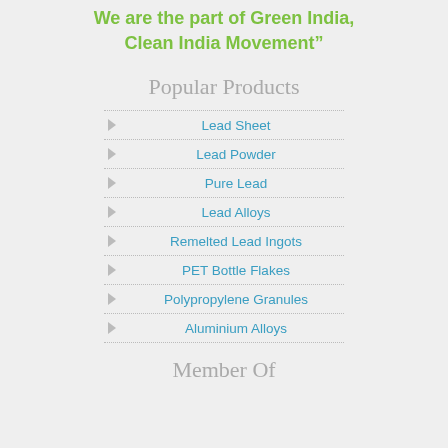We are the part of Green India, Clean India Movement"
Popular Products
Lead Sheet
Lead Powder
Pure Lead
Lead Alloys
Remelted Lead Ingots
PET Bottle Flakes
Polypropylene Granules
Aluminium Alloys
Member Of